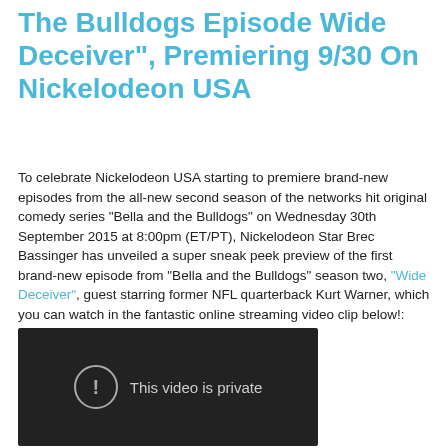The Bulldogs Episode Wide Deceiver", Premiering 9/30 On Nickelodeon USA
To celebrate Nickelodeon USA starting to premiere brand-new episodes from the all-new second season of the networks hit original comedy series "Bella and the Bulldogs" on Wednesday 30th September 2015 at 8:00pm (ET/PT), Nickelodeon Star Brec Bassinger has unveiled a super sneak peek preview of the first brand-new episode from "Bella and the Bulldogs" season two, "Wide Deceiver", guest starring former NFL quarterback Kurt Warner, which you can watch in the fantastic online streaming video clip below!:
[Figure (screenshot): Embedded video player showing 'This video is private' message with an exclamation icon on a dark background]